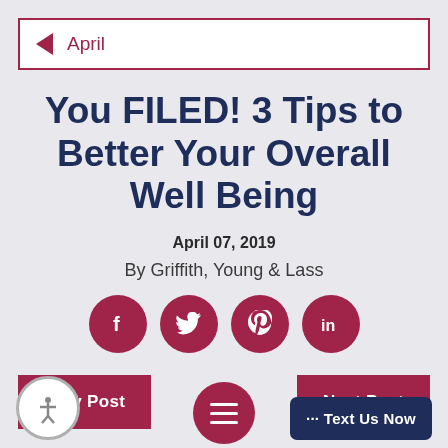April
You FILED! 3 Tips to Better Your Overall Well Being
April 07, 2019
By Griffith, Young & Lass
[Figure (infographic): Four social media sharing icons (Facebook, Twitter, Pinterest, LinkedIn) as dark red/crimson circular buttons]
Prev Post
Next Post
··· Text Us Now